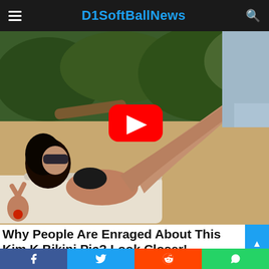D1SoftBallNews
[Figure (photo): Woman in black bikini lying on a beach lounge chair on a sandy beach with tropical greenery in background, with a YouTube play button overlay in center]
Why People Are Enraged About This Kim K Bikini Pic? Look Closer!
TRAITSLAB
[Figure (infographic): Social share bar with Facebook, Twitter, Reddit, and WhatsApp buttons]